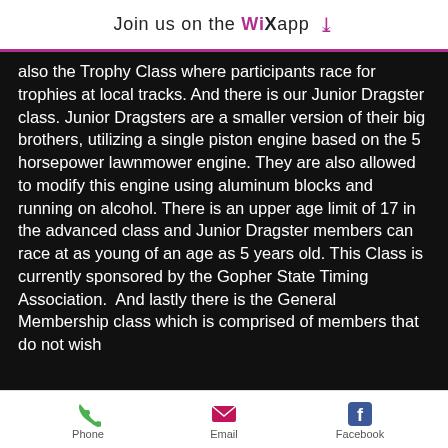Join us on the WiX app
also the Trophy Class where participants race for trophies at local tracks. And there is our Junior Dragster class. Junior Dragsters are a smaller version of their big brothers, utilizing a single piston engine based on the 5 horsepower lawnmower engine. They are also allowed to modify this engine using aluminum blocks and running on alcohol. There is an upper age limit of 17 in the advanced class and Junior Dragster members can race at as young of an age as 5 years old. This Class is currently sponsored by the Gopher State Timing Association.  And lastly there is the General Membership class which is comprised of members that do not wish
Phone  Email  Facebook